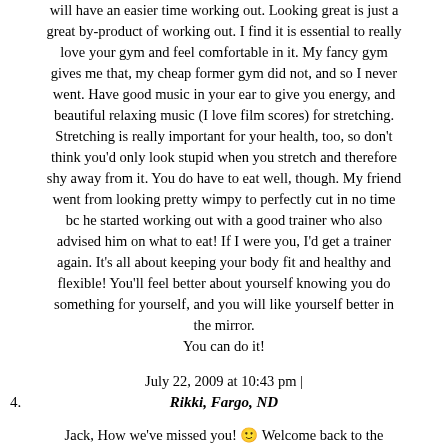will have an easier time working out. Looking great is just a great by-product of working out. I find it is essential to really love your gym and feel comfortable in it. My fancy gym gives me that, my cheap former gym did not, and so I never went. Have good music in your ear to give you energy, and beautiful relaxing music (I love film scores) for stretching. Stretching is really important for your health, too, so don't think you'd only look stupid when you stretch and therefore shy away from it. You do have to eat well, though. My friend went from looking pretty wimpy to perfectly cut in no time bc he started working out with a good trainer who also advised him on what to eat! If I were you, I'd get a trainer again. It's all about keeping your body fit and healthy and flexible! You'll feel better about yourself knowing you do something for yourself, and you will like yourself better in the mirror.
You can do it!
July 22, 2009 at 10:43 pm |
4.  Rikki, Fargo, ND
Jack, How we've missed you! 🙂 Welcome back to the wonderful world of blogging! And good luck with your gym goings!
July 22, 2009 at 10:18 pm |